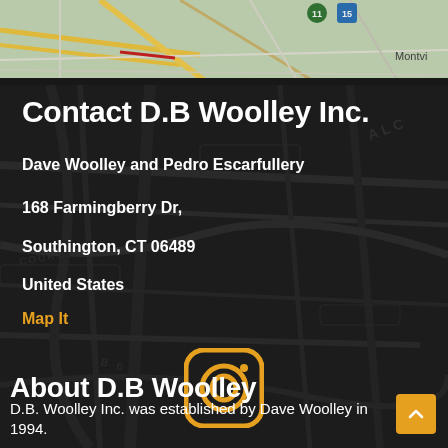[Figure (map): Google Maps aerial/street map view showing roads and green areas, partial view with route 15 and route 11 visible, 'Montville' label partially visible in top right]
Contact D.B Woolley Inc.
Dave Woolley and Pedro Escarfullery
168 Farmingberry Dr,
Southington, CT 06489
United States
Map It
[Figure (logo): Instagram logo icon in orange/amber color on dark background]
About D.B Woolley
D.B. Woolley Inc. was established by Dave Woolley in 1994.